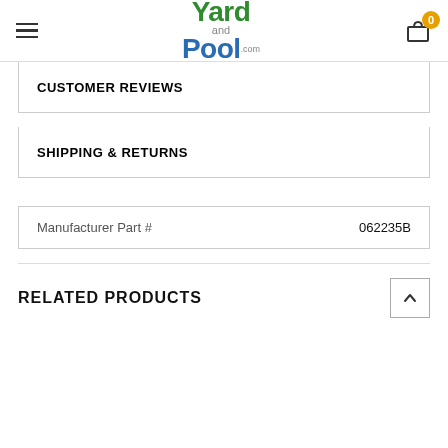Yard and Pool .com
CUSTOMER REVIEWS
SHIPPING & RETURNS
| Manufacturer Part # | 062235B |
| --- | --- |
RELATED PRODUCTS